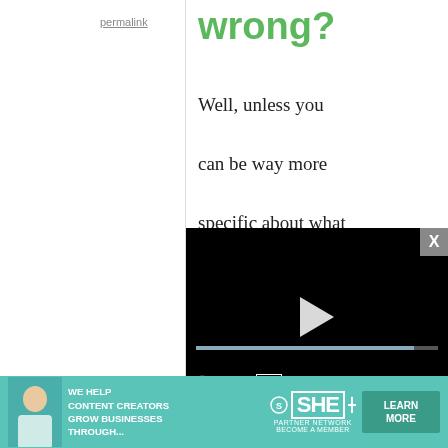permalink
wrong?
Well, unless you can be way more specific about what is 'going wrong' it's impossible to
[Figure (screenshot): Video player overlay showing black background with white play button, progress bar, and controls: mute icon, timestamp 13:52, CC button, grid button, settings gear, fullscreen expand button.]
you have used too
[Figure (infographic): Advertisement banner: 'WE HELP CONTENT CREATORS GROW BUSINESSES THROUGH...' with SHE PARTNER NETWORK logo and LEARN MORE button, teal background.]